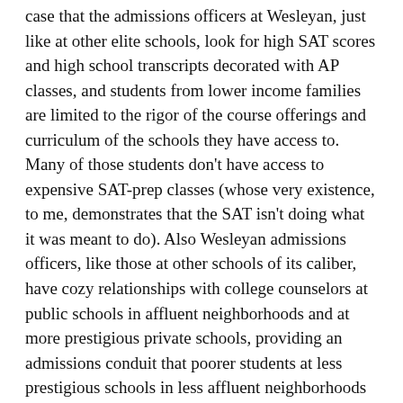case that the admissions officers at Wesleyan, just like at other elite schools, look for high SAT scores and high school transcripts decorated with AP classes, and students from lower income families are limited to the rigor of the course offerings and curriculum of the schools they have access to. Many of those students don't have access to expensive SAT-prep classes (whose very existence, to me, demonstrates that the SAT isn't doing what it was meant to do). Also Wesleyan admissions officers, like those at other schools of its caliber, have cozy relationships with college counselors at public schools in affluent neighborhoods and at more prestigious private schools, providing an admissions conduit that poorer students at less prestigious schools in less affluent neighborhoods don't have.
Perhaps you've read The Gatekeepers by New York Times journalist Jacques Steinberg. Steinberg chronicles the admissions process at Wesleyan in his book, where he follows one admissions officer, Ralph Fugueroa, and six high school senior applicants. Steinberg shows to Wesleyan's credit that it's far from automatic for students with perfect GPAs and near-perfect SAT scores to gain admission. Figueroa tries valiantly to ensure spots go to "educationally disadvantaged" students and to account for the